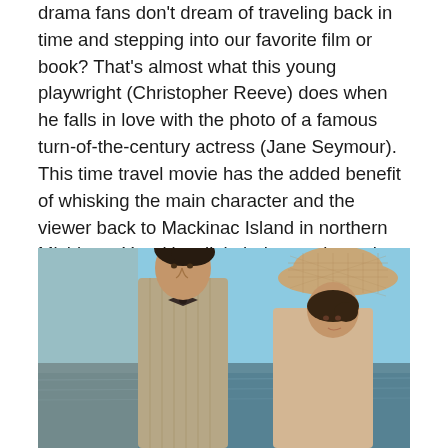drama fans don't dream of traveling back in time and stepping into our favorite film or book? That's almost what this young playwright (Christopher Reeve) does when he falls in love with the photo of a famous turn-of-the-century actress (Jane Seymour). This time travel movie has the added benefit of whisking the main character and the viewer back to Mackinac Island in northern Michigan. Yes, it's a little hokey at times, but it's worth it to see these two amazing actors together. Also starring Christopher Plummer. Rated PG
[Figure (photo): A man in period costume (striped vest, bow tie) looking down at a woman wearing an ornate woven hat. They appear to be outdoors near water with a blue sky behind them. Scene from the movie Somewhere in Time.]